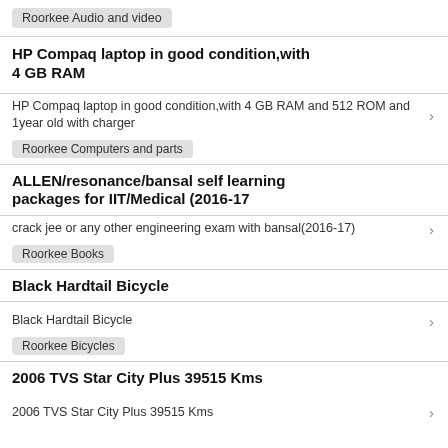Roorkee Audio and video
HP Compaq laptop in good condition,with 4 GB RAM
HP Compaq laptop in good condition,with 4 GB RAM and 512 ROM and 1year old with charger
Roorkee Computers and parts
ALLEN/resonance/bansal self learning packages for IIT/Medical (2016-17
crack jee or any other engineering exam with bansal(2016-17)
Roorkee Books
Black Hardtail Bicycle
Black Hardtail Bicycle
Roorkee Bicycles
2006 TVS Star City Plus 39515 Kms
2006 TVS Star City Plus 39515 Kms